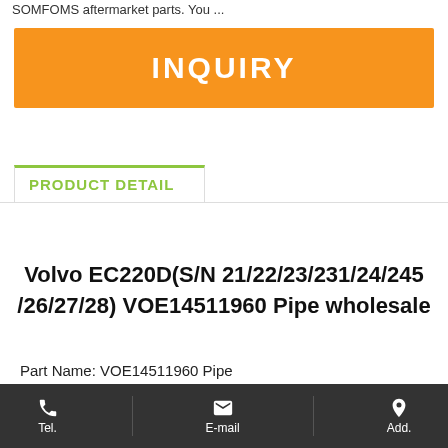SOMFOMS aftermarket parts. You ...
INQUIRY
PRODUCT DETAIL
Volvo EC220D(S/N 21/22/23/231/24/245 /26/27/28) VOE14511960 Pipe wholesale
Part Name: VOE14511960 Pipe
KDSORT: 230, 140, 240
Tel. | E-mail | Add.